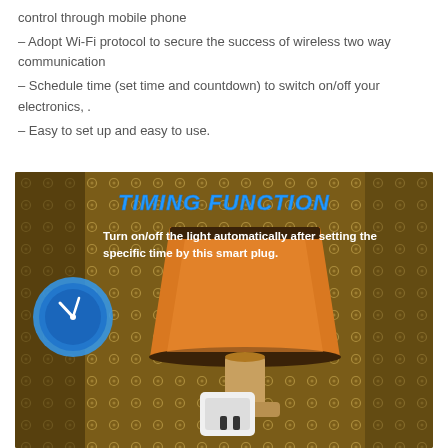control through mobile phone
– Adopt Wi-Fi protocol to secure the success of wireless two way communication
– Schedule time (set time and countdown) to switch on/off your electronics, .
– Easy to set up and easy to use.
[Figure (photo): Photo of a lamp on a patterned wallpaper background with a clock icon and text overlay reading 'TIMING FUNCTION — Turn on/off the light automatically after setting the specific time by this smart plug.' Also shows a smart plug device below the lamp.]